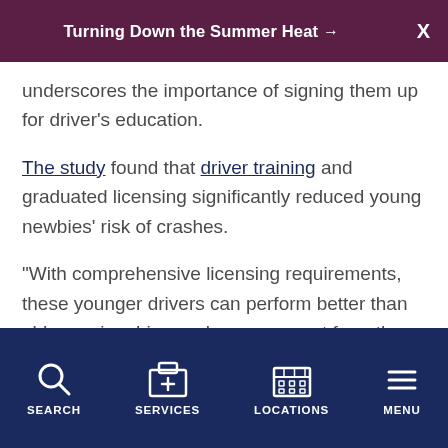Turning Down the Summer Heat →  X
underscores the importance of signing them up for driver's education.
The study found that driver training and graduated licensing significantly reduced young newbies' risk of crashes.
"With comprehensive licensing requirements, these younger drivers can perform better than older novice drivers who are exempt from these requirements," said lead author Elizabeth Walshe, a research scientist at the Center for Injury Research and Prevention (CIRP) at Children's Hospital of Philadelphia (CHOP).
SEARCH  SERVICES  LOCATIONS  MENU